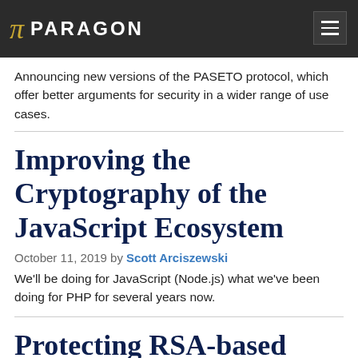PARAGON
Announcing new versions of the PASETO protocol, which offer better arguments for security in a wider range of use cases.
Improving the Cryptography of the JavaScript Ecosystem
October 11, 2019 by Scott Arciszewski
We'll be doing for JavaScript (Node.js) what we've been doing for PHP for several years now.
Protecting RSA-based Protocols Against